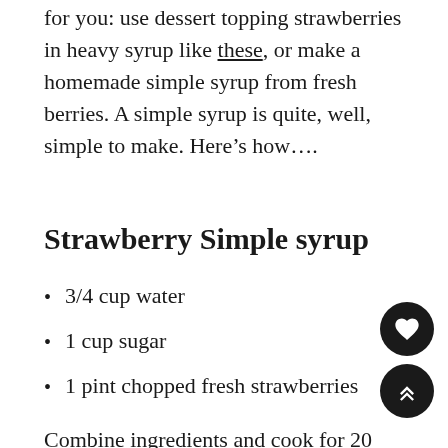for you: use dessert topping strawberries in heavy syrup like these, or make a homemade simple syrup from fresh berries. A simple syrup is quite, well, simple to make. Here’s how….
Strawberry Simple syrup
3/4 cup water
1 cup sugar
1 pint chopped fresh strawberries
Combine ingredients and cook for 20 minutes on